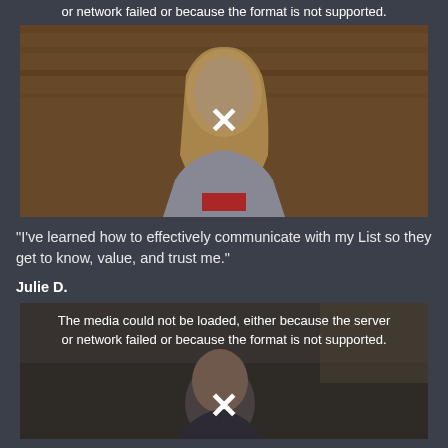or network failed or because the format is not supported.
[Figure (screenshot): Video player showing broken media with X mark over a blurred image of a woman with long blonde hair wearing a gray hoodie with red text, sitting in front of wooden paneling. Error: The media could not be loaded, either because the server or network failed or because the format is not supported.]
"I've learned how to effectively communicate with my List so they get to know, value, and trust me."
Julie D.
[Figure (screenshot): Video player showing broken media with X mark over a blurred image of a man sitting in front of bookshelves/room. Error: The media could not be loaded, either because the server or network failed or because the format is not supported.]